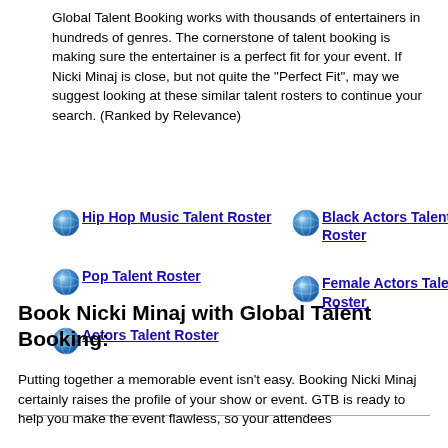Global Talent Booking works with thousands of entertainers in hundreds of genres. The cornerstone of talent booking is making sure the entertainer is a perfect fit for your event. If Nicki Minaj is close, but not quite the "Perfect Fit", may we suggest looking at these similar talent rosters to continue your search. (Ranked by Relevance)
Hip Hop Music Talent Roster
Black Actors Talent Roster
Pop Talent Roster
Female Actors Talent Roster
Actors Talent Roster
Book Nicki Minaj with Global Talent Booking:
Putting together a memorable event isn't easy. Booking Nicki Minaj certainly raises the profile of your show or event. GTB is ready to help you make the event flawless, so your attendees